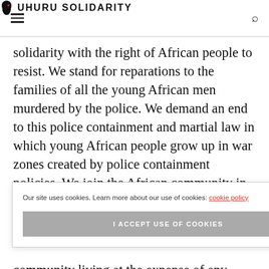UHURU SOLIDARITY
solidarity with the right of African people to resist. We stand for reparations to the families of all the young African men murdered by the police. We demand an end to this police containment and martial law in which young African people grow up in war zones created by police containment policies. We join the African community in demanding genuine economic [community out] [unity.” We] [e] community living at the expense of any other
Our site uses cookies. Learn more about our use of cookies: cookie policy
I ACCEPT USE OF COOKIES
Scroll To Top